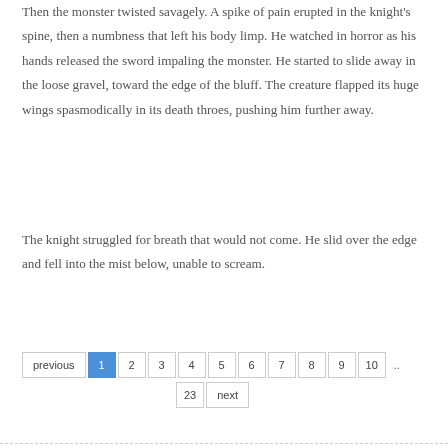Then the monster twisted savagely. A spike of pain erupted in the knight's spine, then a numbness that left his body limp. He watched in horror as his hands released the sword impaling the monster. He started to slide away in the loose gravel, toward the edge of the bluff. The creature flapped its huge wings spasmodically in its death throes, pushing him further away.
The knight struggled for breath that would not come. He slid over the edge and fell into the mist below, unable to scream.
previous 1 2 3 4 5 6 7 8 9 10 .. 23 next